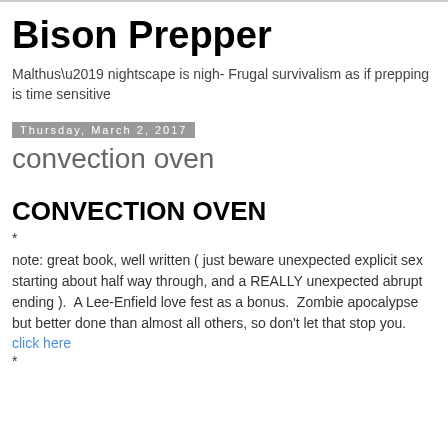Bison Prepper
Malthus’ nightscape is nigh- Frugal survivalism as if prepping is time sensitive
Thursday, March 2, 2017
convection oven
CONVECTION OVEN
*
note: great book, well written ( just beware unexpected explicit sex starting about half way through, and a REALLY unexpected abrupt ending ).  A Lee-Enfield love fest as a bonus.  Zombie apocalypse but better done than almost all others, so don’t let that stop you.
click here
*